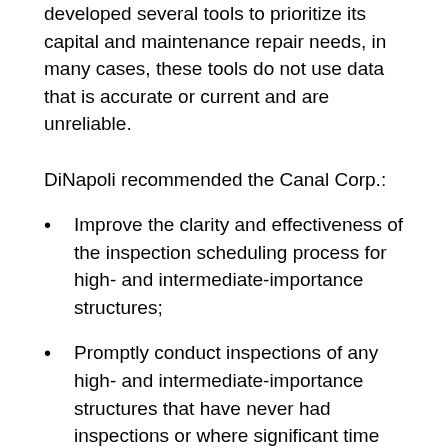developed several tools to prioritize its capital and maintenance repair needs, in many cases, these tools do not use data that is accurate or current and are unreliable.
DiNapoli recommended the Canal Corp.:
Improve the clarity and effectiveness of the inspection scheduling process for high- and intermediate-importance structures;
Promptly conduct inspections of any high- and intermediate-importance structures that have never had inspections or where significant time has elapsed since the last inspection;
Determine the canal system's true inspection program needs and incorporate them into budget